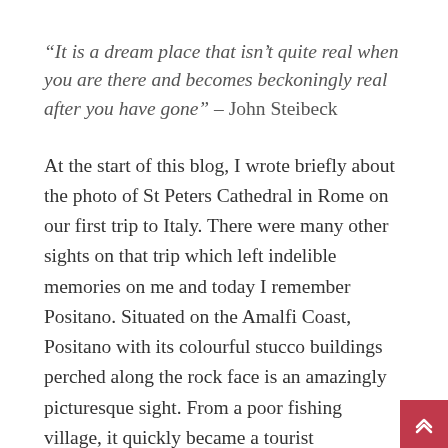“It is a dream place that isn’t quite real when you are there and becomes beckoningly real after you have gone” – John Steibeck
At the start of this blog, I wrote briefly about the photo of St Peters Cathedral in Rome on our first trip to Italy. There were many other sights on that trip which left indelible memories on me and today I remember Positano. Situated on the Amalfi Coast, Positano with its colourful stucco buildings perched along the rock face is an amazingly picturesque sight. From a poor fishing village, it quickly became a tourist